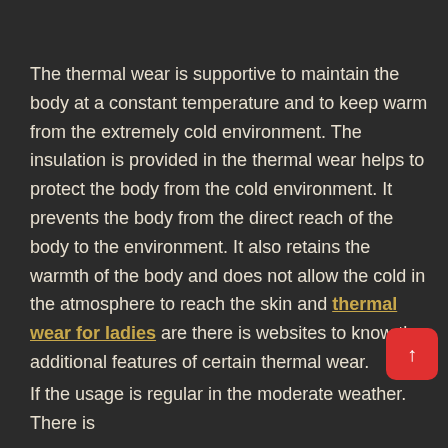The thermal wear is supportive to maintain the body at a constant temperature and to keep warm from the extremely cold environment. The insulation is provided in the thermal wear helps to protect the body from the cold environment. It prevents the body from the direct reach of the body to the environment. It also retains the warmth of the body and does not allow the cold in the atmosphere to reach the skin and thermal wear for ladies are there is websites to know the additional features of certain thermal wear.
If the usage is regular in the moderate weather. There is